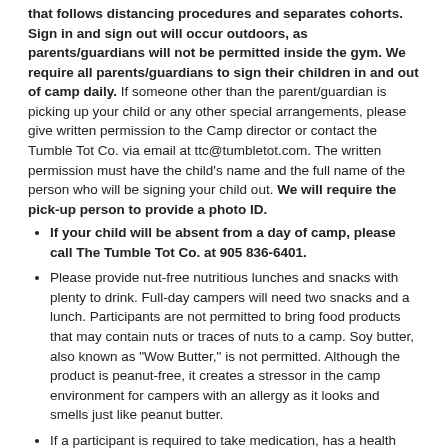that follows distancing procedures and separates cohorts. Sign in and sign out will occur outdoors, as parents/guardians will not be permitted inside the gym. We require all parents/guardians to sign their children in and out of camp daily. If someone other than the parent/guardian is picking up your child or any other special arrangements, please give written permission to the Camp director or contact the Tumble Tot Co. via email at ttc@tumbletot.com. The written permission must have the child's name and the full name of the person who will be signing your child out. We will require the pick-up person to provide a photo ID.
If your child will be absent from a day of camp, please call The Tumble Tot Co. at 905 836-6401.
Please provide nut-free nutritious lunches and snacks with plenty to drink. Full-day campers will need two snacks and a lunch. Participants are not permitted to bring food products that may contain nuts or traces of nuts to a camp. Soy butter, also known as "Wow Butter," is not permitted. Although the product is peanut-free, it creates a stressor in the camp environment for campers with an allergy as it looks and smells just like peanut butter.
If a participant is required to take medication, has a health condition, or carries an Epi-Pen, please ensure that this information was provided on your registration forms before your child attends camp.
All participants must wear weather appropriate clothing and closed toe